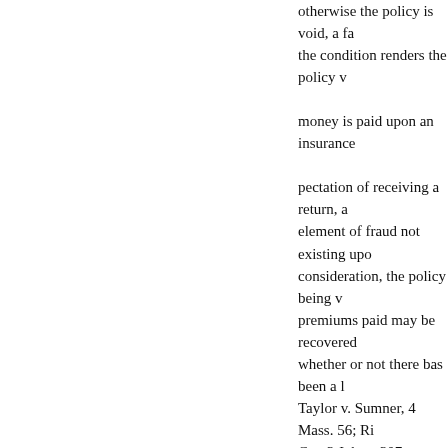otherwise the policy is void, a fa the condition renders the policy v money is paid upon an insurance pectation of receiving a return, a element of fraud not existing upo consideration, the policy being v premiums paid may be recovered whether or not there bas been a l Taylor v. Sumner, 4 Mass. 56; Ri Co., 3 Johns. 307; Murray v. Col opinion, 443; Elbers v. U.S. Ins. demur- Same, 1 Johns. Cas. 310; Co., Robertson v. Same, id. 250; Co., Jackson v. New York Ins. Co Church, 3 id. 159; Steinback v Donath v. Ins.Co. of N.A.,4 Dall Cof- Ins. Co., 2 Wood. & M. 473 Smith v. Na. 2 Wash. C. C. 107; Sheerer v. Man- Feise v. Parkins July 15, 1884. 11 East, 428; Oom v. Bruce, 1